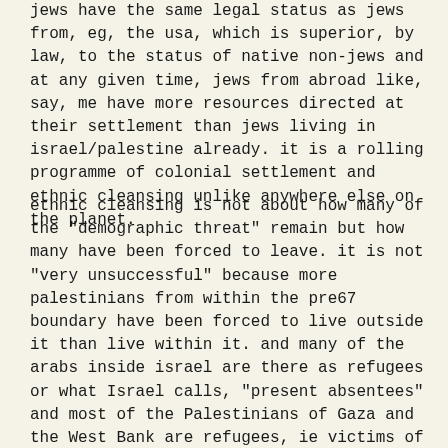jews have the same legal status as jews from, eg, the usa, which is superior, by law, to the status of native non-jews and at any given time, jews from abroad like, say, me have more resources directed at their settlement than jews living in israel/palestine already. it is a rolling programme of colonial settlement and ethnic cleansing unlike anywhere else on the planet.
ethnic cleansing is not about how many of the "demographic threat" remain but how many have been forced to leave. it is not "very unsuccessful" because more palestinians from within the pre67 boundary have been forced to live outside it than live within it. and many of the arabs inside israel are there as refugees or what Israel calls, "present absentees" and most of the Palestinians of Gaza and the West Bank are refugees, ie victims of ethnic cleansing. and of course there are millions of Palestinians forced to live outside palestine altogether. the fact that many remain throughout palestine is what makes the campaign on-going and contributes to a state of tension which maintains the cohesion of israeli jewish society